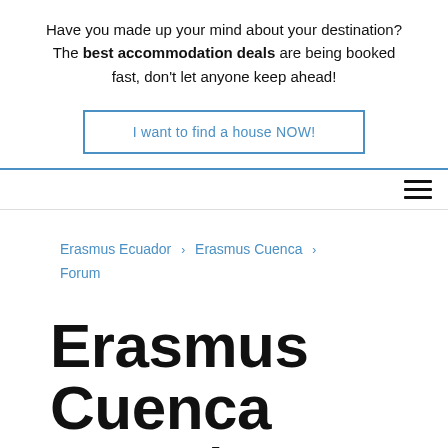Have you made up your mind about your destination? The best accommodation deals are being booked fast, don't let anyone keep ahead!
I want to find a house NOW!
Erasmus Ecuador › Erasmus Cuenca › Forum
Erasmus Cuenca 2020 / 2021